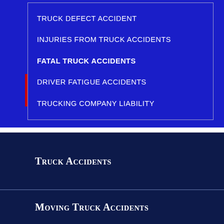TRUCK DEFECT ACCIDENT
INJURIES FROM TRUCK ACCIDENTS
FATAL TRUCK ACCIDENTS
DRIVER FATIGUE ACCIDENTS
TRUCKING COMPANY LIABILITY
Truck Accidents
Moving Truck Accidents